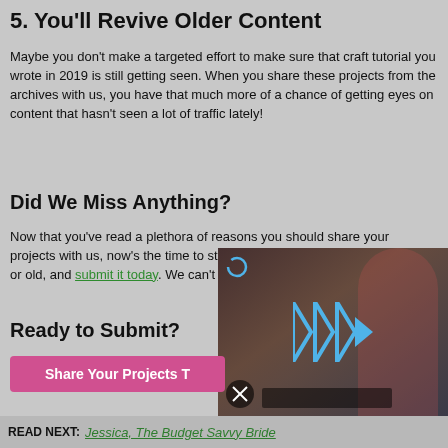5. You'll Revive Older Content
Maybe you don't make a targeted effort to make sure that craft tutorial you wrote in 2019 is still getting seen. When you share these projects from the archives with us, you have that much more of a chance of getting eyes on content that hasn't seen a lot of traffic lately!
Did We Miss Anything?
Now that you've read a plethora of reasons you should share your projects with us, now's the time to start! Pick a project from your blog, new or old, and submit it today. We can't wait to...
Ready to Submit?
[Figure (screenshot): Video player overlay showing a woman in a pink jacket, with a play button icon made of blue triangles, a mute button, and a progress bar at the bottom]
Share Your Projects T...
READ NEXT: Jessica, The Budget Savvy Bride
[Figure (infographic): Advertisement banner: Frontgate: Outdoor Furniture | Bedding. 25% off site wide sale going on now at Frontgate.com. frontgate.com]